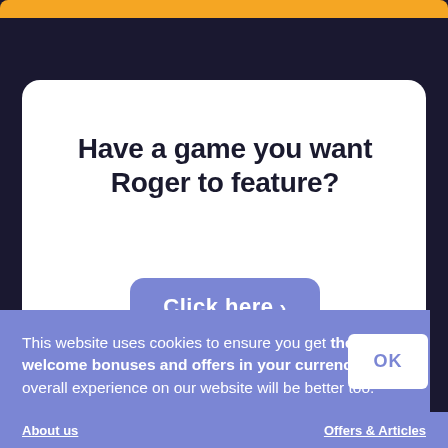[Figure (screenshot): Orange rounded bar at the top of the page, part of a website UI]
Have a game you want Roger to feature?
[Figure (other): Purple rounded 'Click here >' button partially visible on the white card]
This website uses cookies to ensure you get the best welcome bonuses and offers in your currency. Your overall experience on our website will be better too.
[Figure (other): White OK button on the purple cookie banner]
About us    Offers & Articles